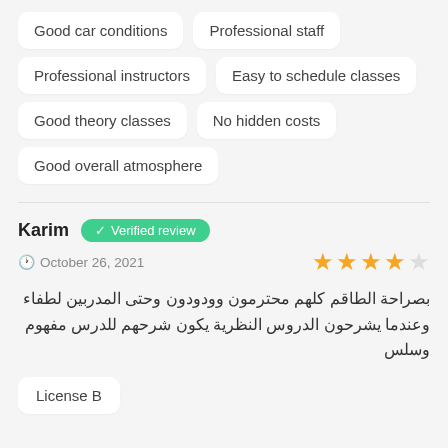Good car conditions
Professional staff
Professional instructors
Easy to schedule classes
Good theory classes
No hidden costs
Good overall atmosphere
Karim — Verified review — October 26, 2021 — 4 stars
بصراحة الطاقم كلهم محترمون وودودون وحتى المدربين لطفاء وعندما يشرحون الدروس النظرية يكون شرحهم للدرس مفهوم وسلس
License B